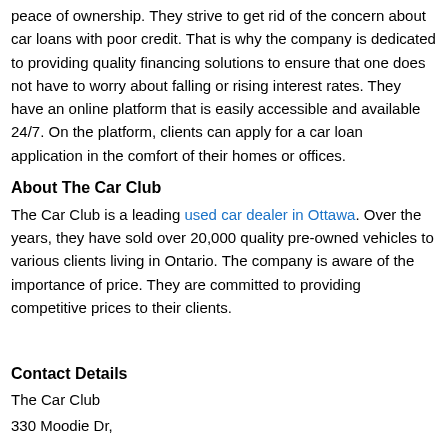peace of ownership. They strive to get rid of the concern about car loans with poor credit. That is why the company is dedicated to providing quality financing solutions to ensure that one does not have to worry about falling or rising interest rates. They have an online platform that is easily accessible and available 24/7. On the platform, clients can apply for a car loan application in the comfort of their homes or offices.
About The Car Club
The Car Club is a leading used car dealer in Ottawa. Over the years, they have sold over 20,000 quality pre-owned vehicles to various clients living in Ontario. The company is aware of the importance of price. They are committed to providing competitive prices to their clients.
Contact Details
The Car Club
330 Moodie Dr,